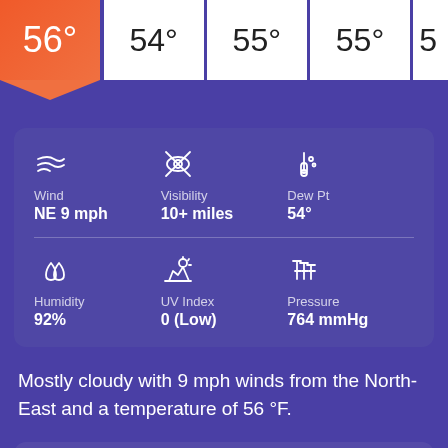[Figure (screenshot): Weather app screenshot showing temperature row with 56° active (orange), 54°, 55°, 55° and partial next value]
Wind
NE 9 mph
Visibility
10+ miles
Dew Pt
54°
Humidity
92%
UV Index
0 (Low)
Pressure
764 mmHg
Mostly cloudy with 9 mph winds from the North-East and a temperature of 56 °F.